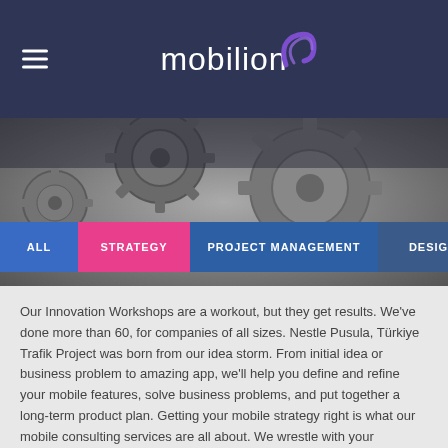[Figure (logo): Mobilion logo with arc/swirl graphic on dark navy header background]
[Figure (photo): Background image of metallic gears/cogs in greyscale]
ALL
STRATEGY
PROJECT MANAGEMENT
DESIGN
DEVE
Our Innovation Workshops are a workout, but they get results. We've done more than 60, for companies of all sizes. Nestle Pusula, Türkiye Trafik Project was born from our idea storm. From initial idea or business problem to amazing app, we'll help you define and refine your mobile features, solve business problems, and put together a long-term product plan. Getting your mobile strategy right is what our mobile consulting services are all about. We wrestle with your business challenges, discover new opportunities, and provide the zoom-out, zoom-in services. We'll take you from A to Z and then AA to ZZ to AAA...